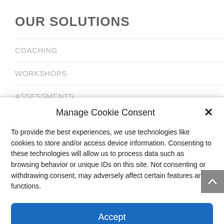OUR SOLUTIONS
COACHING
WORKSHOPS
ASSESSMENTS
Manage Cookie Consent
To provide the best experiences, we use technologies like cookies to store and/or access device information. Consenting to these technologies will allow us to process data such as browsing behavior or unique IDs on this site. Not consenting or withdrawing consent, may adversely affect certain features and functions.
Accept
Cookie Policy   Privacy Statement